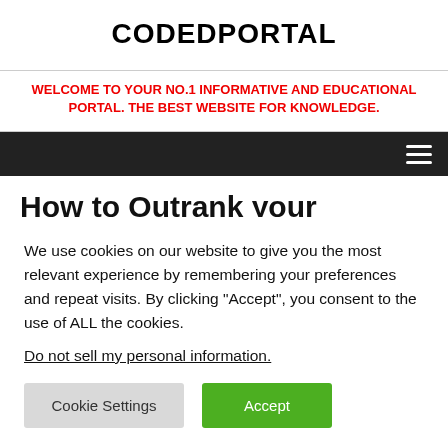CODEDPORTAL
WELCOME TO YOUR NO.1 INFORMATIVE AND EDUCATIONAL PORTAL. THE BEST WEBSITE FOR KNOWLEDGE.
How to Outrank your Competitor’s Content – 3 New
We use cookies on our website to give you the most relevant experience by remembering your preferences and repeat visits. By clicking “Accept”, you consent to the use of ALL the cookies.
Do not sell my personal information.
Cookie Settings   Accept